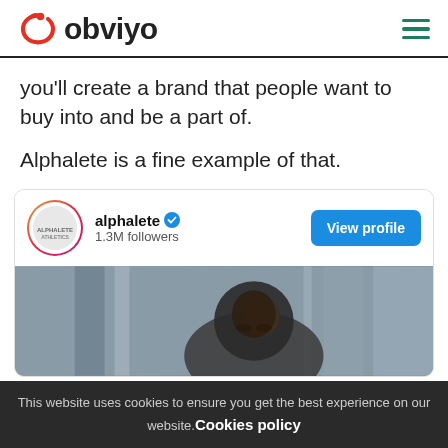obviyo
you'll create a brand that people want to buy into and be a part of.
Alphalete is a fine example of that.
[Figure (screenshot): Instagram profile card for alphalete with 1.3M followers, View profile button, and a photo of a man below]
This website uses cookies to ensure you get the best experience on our website. Cookies policy